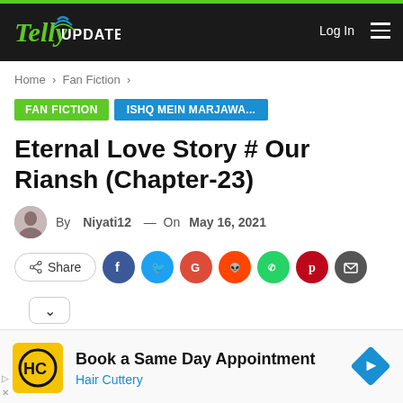[Figure (logo): Telly Updates website logo with green Telly text and white UPDATES text on black header bar]
Home > Fan Fiction >
FAN FICTION   ISHQ MEIN MARJAWA...
Eternal Love Story # Our Riansh (Chapter-23)
By Niyati12 — On May 16, 2021
[Figure (screenshot): Social share buttons row: Share button, Facebook, Twitter, Google+, Reddit, WhatsApp, Pinterest, Email circles]
[Figure (infographic): Advertisement: Book a Same Day Appointment - Hair Cuttery with HC logo]